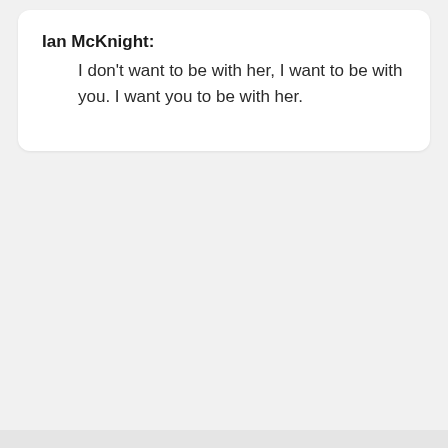Ian McKnight: I don't want to be with her, I want to be with you. I want you to be with her.